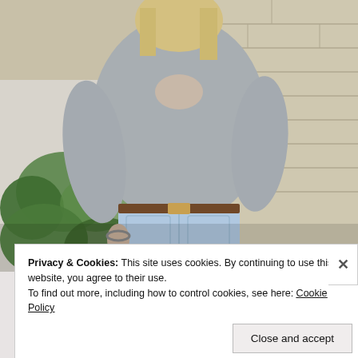[Figure (photo): A person seen from behind wearing a grey open-back sweater and light blue distressed jeans with a brown belt, standing in front of a white and stone brick wall with green ivy plants. The person has blonde hair and is wearing a bracelet.]
Privacy & Cookies: This site uses cookies. By continuing to use this website, you agree to their use.
To find out more, including how to control cookies, see here: Cookie Policy
Close and accept